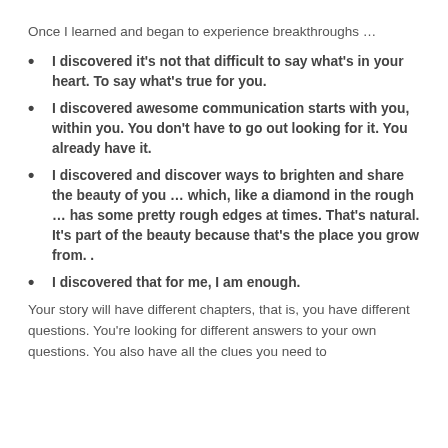Once I learned and began to experience breakthroughs …
I discovered it's not that difficult to say what's in your heart. To say what's true for you.
I discovered awesome communication starts with you, within you. You don't have to go out looking for it. You already have it.
I discovered and discover ways to brighten and share the beauty of you … which, like a diamond in the rough … has some pretty rough edges at times. That's natural. It's part of the beauty because that's the place you grow from. .
I discovered that for me, I am enough.
Your story will have different chapters, that is, you have different questions. You're looking for different answers to your own questions. You also have all the clues you need to